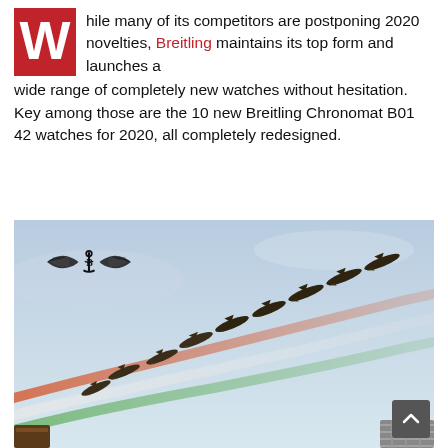While many of its competitors are postponing 2020 novelties, Breitling maintains its top form and launches a wide range of completely new watches without hesitation. Key among those are the 10 new Breitling Chronomat B01 42 watches for 2020, all completely redesigned.
[Figure (photo): Aerial acrobatic team (Frecce Tricolori) flying in formation trailing Italian flag colored smoke (red, white, green) against a light blue sky, with Breitling logo (winged anchor) visible in upper left corner of the image.]